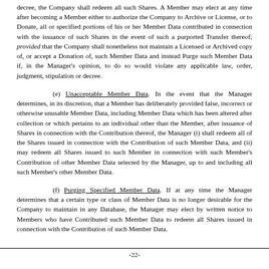decree, the Company shall redeem all such Shares. A Member may elect at any time after becoming a Member either to authorize the Company to Archive or License, or to Donate, all or specified portions of his or her Member Data contributed in connection with the issuance of such Shares in the event of such a purported Transfer thereof; provided that the Company shall nonetheless not maintain a Licensed or Archived copy of, or accept a Donation of, such Member Data and instead Purge such Member Data if, in the Manager's opinion, to do so would violate any applicable law, order, judgment, stipulation or decree.
(e) Unacceptable Member Data. In the event that the Manager determines, in its discretion, that a Member has deliberately provided false, incorrect or otherwise unusable Member Data, including Member Data which has been altered after collection or which pertains to an individual other than the Member, after issuance of Shares in connection with the Contribution thereof, the Manager (i) shall redeem all of the Shares issued in connection with the Contribution of such Member Data, and (ii) may redeem all Shares issued to such Member in connection with such Member's Contribution of other Member Data selected by the Manager, up to and including all such Member's other Member Data.
(f) Purging Specified Member Data. If at any time the Manager determines that a certain type or class of Member Data is no longer desirable for the Company to maintain in any Database, the Manager may elect by written notice to Members who have Contributed such Member Data to redeem all Shares issued in connection with the Contribution of such Member Data.
-22-